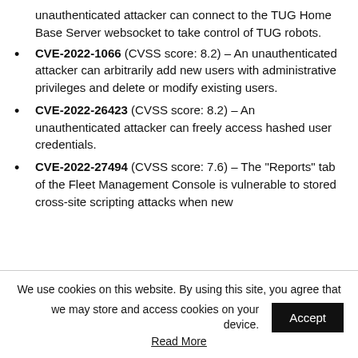unauthenticated attacker can connect to the TUG Home Base Server websocket to take control of TUG robots.
CVE-2022-1066 (CVSS score: 8.2) – An unauthenticated attacker can arbitrarily add new users with administrative privileges and delete or modify existing users.
CVE-2022-26423 (CVSS score: 8.2) – An unauthenticated attacker can freely access hashed user credentials.
CVE-2022-27494 (CVSS score: 7.6) – The "Reports" tab of the Fleet Management Console is vulnerable to stored cross-site scripting attacks when new
We use cookies on this website. By using this site, you agree that we may store and access cookies on your device.
Read More